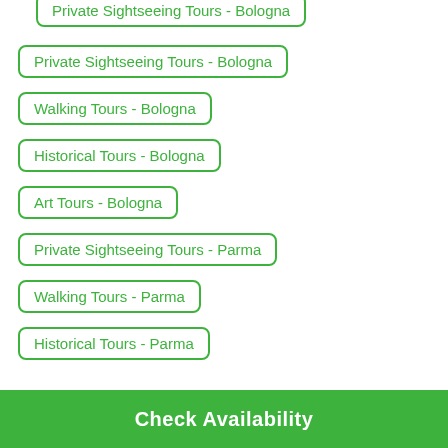Private Sightseeing Tours - Bologna
Walking Tours - Bologna
Historical Tours - Bologna
Art Tours - Bologna
Private Sightseeing Tours - Parma
Walking Tours - Parma
Historical Tours - Parma
Check Availability